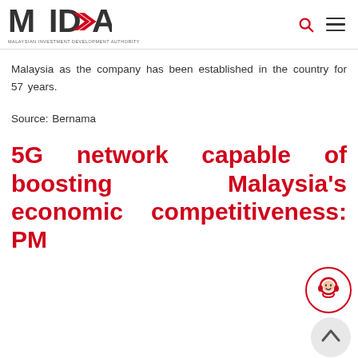MIDA — Malaysian Investment Development Authority
Malaysia as the company has been established in the country for 57 years.
Source: Bernama
5G network capable of boosting Malaysia's economic competitiveness: PM